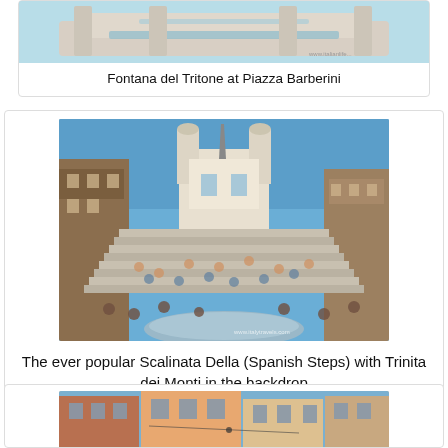[Figure (photo): Photo of Fontana del Tritone at Piazza Barberini, Rome — a baroque fountain with water jets, partially visible at top of page]
Fontana del Tritone at Piazza Barberini
[Figure (photo): Photo of the Spanish Steps (Scalinata Della) in Rome, crowded with tourists, with the Trinita dei Monti church visible in the backdrop against a blue sky]
The ever popular Scalinata Della (Spanish Steps) with Trinita dei Monti in the backdrop
[Figure (photo): Photo of a Roman street scene with colourful multi-storey buildings — orange, pink, and ochre facades — under a blue sky]